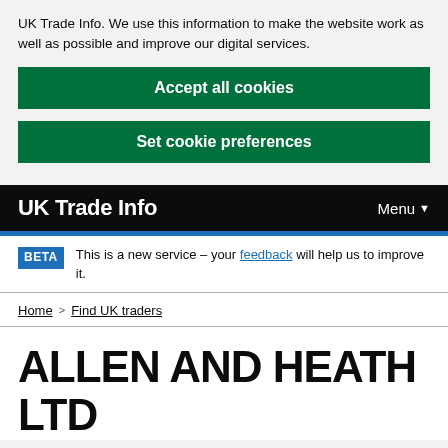UK Trade Info. We use this information to make the website work as well as possible and improve our digital services.
Accept all cookies
Set cookie preferences
UK Trade Info
BETA This is a new service – your feedback will help us to improve it.
Home > Find UK traders
ALLEN AND HEATH LTD